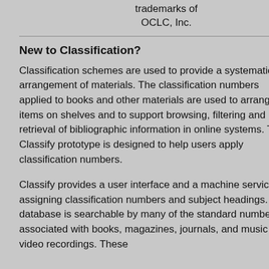trademarks of OCLC, Inc.
New to Classification?
Classification schemes are used to provide a systematic arrangement of materials. The classification numbers applied to books and other materials are used to arrange items on shelves and to support browsing, filtering and retrieval of bibliographic information in online systems. The Classify prototype is designed to help users apply classification numbers.
Classify provides a user interface and a machine service for assigning classification numbers and subject headings. The database is searchable by many of the standard numbers associated with books, magazines, journals, and music and video recordings. These